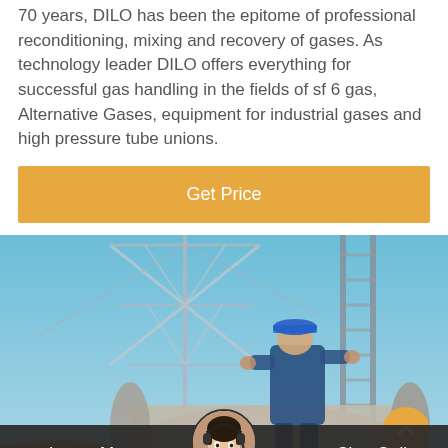70 years, DILO has been the epitome of professional reconditioning, mixing and recovery of gases. As technology leader DILO offers everything for successful gas handling in the fields of sf 6 gas, Alternative Gases, equipment for industrial gases and high pressure tube unions.
Get Price
[Figure (photo): A worker in blue overalls and hard hat working on industrial gas equipment, with a metal tower/scaffold structure and blue sky in the background.]
Leave Message
Chat Online